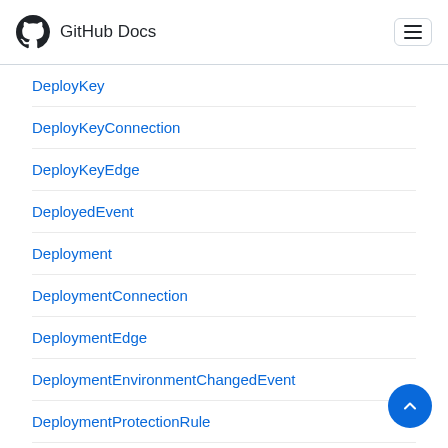GitHub Docs
DeployKey
DeployKeyConnection
DeployKeyEdge
DeployedEvent
Deployment
DeploymentConnection
DeploymentEdge
DeploymentEnvironmentChangedEvent
DeploymentProtectionRule
DeploymentProtectionRuleConnection
DeploymentProtectionRuleEdge
DeploymentRequest
DeploymentRequestConnection
DeploymentRequestEdge